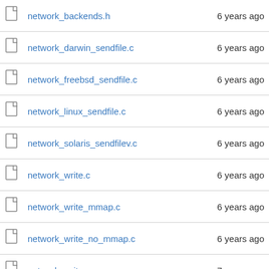network_backends.h  6 years ago
network_darwin_sendfile.c  6 years ago
network_freebsd_sendfile.c  6 years ago
network_linux_sendfile.c  6 years ago
network_solaris_sendfilev.c  6 years ago
network_write.c  6 years ago
network_write_mmap.c  6 years ago
network_write_no_mmap.c  6 years ago
network_writev.c  7 years ago
plugin.c  5 years ago
plugin.h  5 years ago